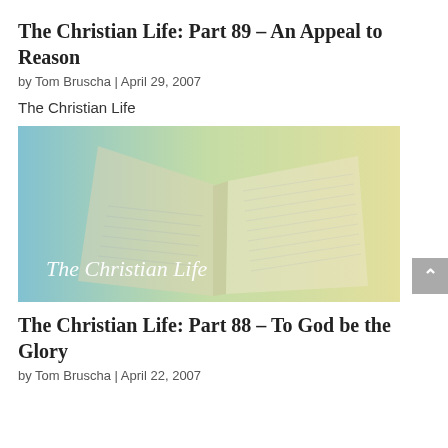The Christian Life: Part 89 – An Appeal to Reason
by Tom Bruscha | April 29, 2007
The Christian Life
[Figure (photo): An open Bible with soft blue and yellow gradient overlay and the text 'The Christian Life' in white cursive font at the bottom left]
The Christian Life: Part 88 – To God be the Glory
by Tom Bruscha | April 22, 2007